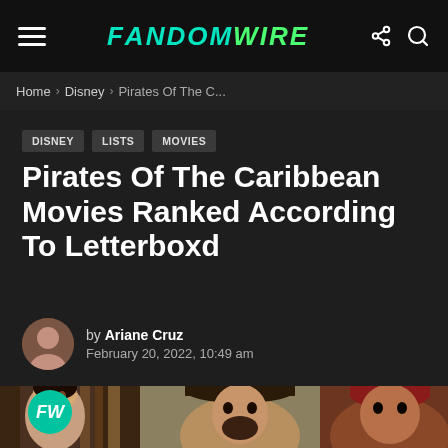FandomWire
Home › Disney › Pirates Of The C...
DISNEY   LISTS   MOVIES
Pirates Of The Caribbean Movies Ranked According To Letterboxd
by Ariane Cruz
February 20, 2022, 10:49 am
[Figure (photo): Hero image showing Pirates of the Caribbean characters with FW logo overlay]